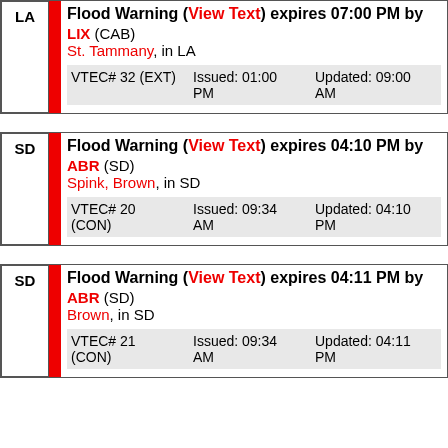LA | Flood Warning (View Text) expires 07:00 PM by LIX (CAB) St. Tammany, in LA VTEC# 32 (EXT) Issued: 01:00 PM Updated: 09:00 AM
SD | Flood Warning (View Text) expires 04:10 PM by ABR (SD) Spink, Brown, in SD VTEC# 20 (CON) Issued: 09:34 AM Updated: 04:10 PM
SD | Flood Warning (View Text) expires 04:11 PM by ABR (SD) Brown, in SD VTEC# 21 (CON) Issued: 09:34 AM Updated: 04:11 PM